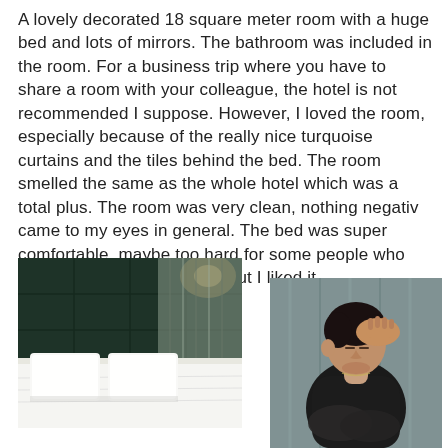A lovely decorated 18 square meter room with a huge bed and lots of mirrors. The bathroom was included in the room. For a business trip where you have to share a room with your colleague, the hotel is not recommended I suppose. However, I loved the room, especially because of the really nice turquoise curtains and the tiles behind the bed. The room smelled the same as the whole hotel which was a total plus. The room was very clean, nothing negativ came to my eyes in general. The bed was super comfortable, maybe too hard for some people who are used to very soft beds, but I liked it.
[Figure (photo): Hotel room with a large white bed, white pillows, dark teal/green headboard wall, and light curtains in the background.]
[Figure (photo): Young man in a black sleeveless shirt sitting with his hand on his head, eyes closed, leaning against a light curtain background.]